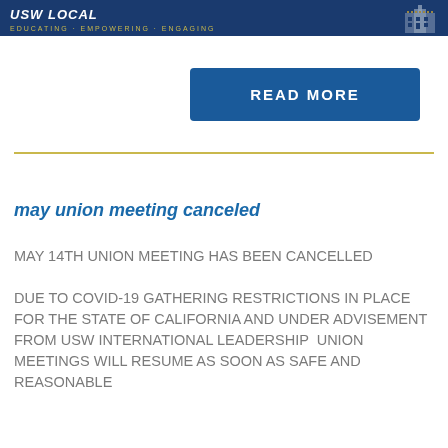[Figure (logo): Union organization banner with logo text, tagline 'EDUCATING · EMPOWERING · ENGAGING' and a building graphic on dark blue background]
READ MORE
may union meeting canceled
MAY 14TH UNION MEETING HAS BEEN CANCELLED

DUE TO COVID-19 GATHERING RESTRICTIONS IN PLACE FOR THE STATE OF CALIFORNIA AND UNDER ADVISEMENT FROM USW INTERNATIONAL LEADERSHIP  UNION MEETINGS WILL RESUME AS SOON AS SAFE AND REASONABLE